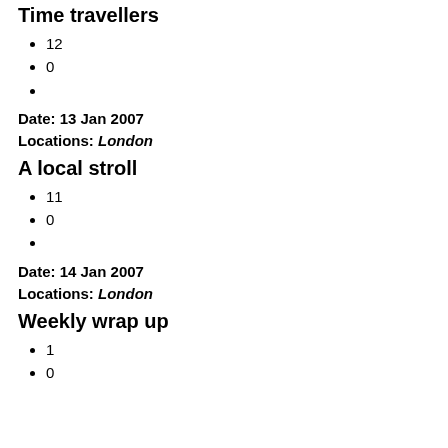Time travellers
12
0
Date: 13 Jan 2007
Locations: London
A local stroll
11
0
Date: 14 Jan 2007
Locations: London
Weekly wrap up
1
0